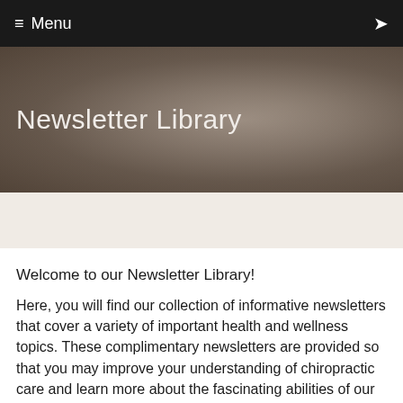≡ Menu
Newsletter Library
Welcome to our Newsletter Library!
Here, you will find our collection of informative newsletters that cover a variety of important health and wellness topics. These complimentary newsletters are provided so that you may improve your understanding of chiropractic care and learn more about the fascinating abilities of our bodies!